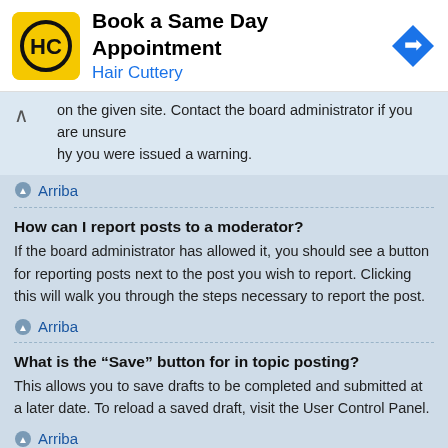[Figure (infographic): Hair Cuttery advertisement banner: yellow logo with HC initials, text 'Book a Same Day Appointment' and 'Hair Cuttery', blue navigation arrow icon on right]
on the given site. Contact the board administrator if you are unsure why you were issued a warning.
Arriba
How can I report posts to a moderator?
If the board administrator has allowed it, you should see a button for reporting posts next to the post you wish to report. Clicking this will walk you through the steps necessary to report the post.
Arriba
What is the “Save” button for in topic posting?
This allows you to save drafts to be completed and submitted at a later date. To reload a saved draft, visit the User Control Panel.
Arriba
Why does my post need to be approved?
The board administrator may have decided that posts in the forum you are posting to require review before submission. It is also possible that the